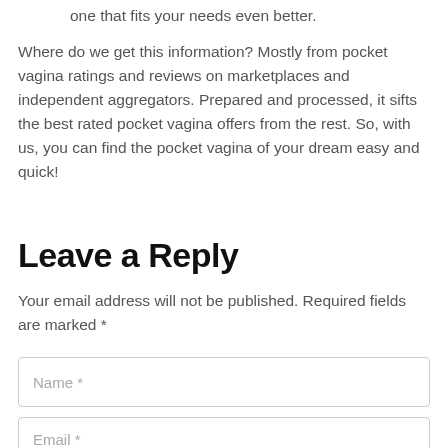one that fits your needs even better.
Where do we get this information? Mostly from pocket vagina ratings and reviews on marketplaces and independent aggregators. Prepared and processed, it sifts the best rated pocket vagina offers from the rest. So, with us, you can find the pocket vagina of your dream easy and quick!
Leave a Reply
Your email address will not be published. Required fields are marked *
Name *
Email *